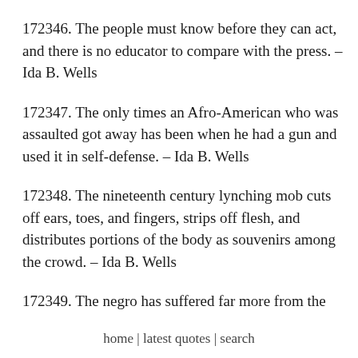172346. The people must know before they can act, and there is no educator to compare with the press. – Ida B. Wells
172347. The only times an Afro-American who was assaulted got away has been when he had a gun and used it in self-defense. – Ida B. Wells
172348. The nineteenth century lynching mob cuts off ears, toes, and fingers, strips off flesh, and distributes portions of the body as souvenirs among the crowd. – Ida B. Wells
172349. The negro has suffered far more from the
home | latest quotes | search